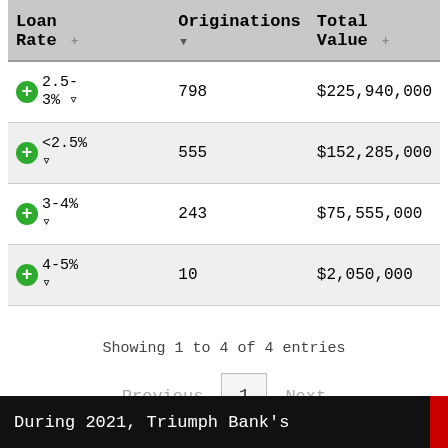| Loan Rate | Originations | Total Value |
| --- | --- | --- |
| 2.5-3% | 798 | $225,940,000 |
| <2.5% | 555 | $152,285,000 |
| 3-4% | 243 | $75,555,000 |
| 4-5% | 10 | $2,050,000 |
Showing 1 to 4 of 4 entries
Previous  1  Next
During 2021, Triumph Bank's